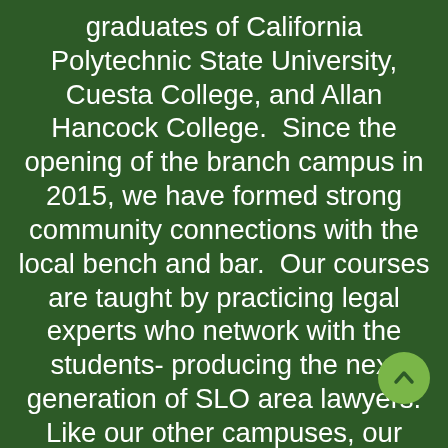graduates of California Polytechnic State University, Cuesta College, and Allan Hancock College.  Since the opening of the branch campus in 2015, we have formed strong community connections with the local bench and bar.  Our courses are taught by practicing legal experts who network with the students- producing the next generation of SLO area lawyers. Like our other campuses, our classes are taught in the evenings Monday through Thursday, so students can fulfill their personal and professional obligations. Many of our graduates go